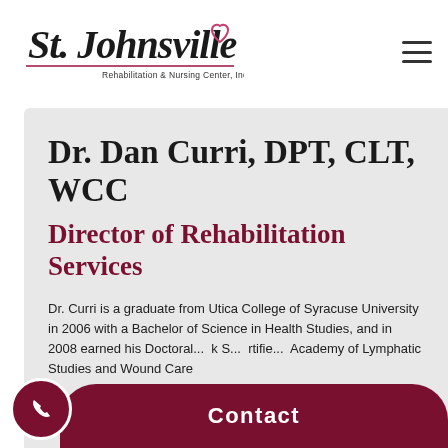[Figure (logo): St. Johnsville Rehabilitation & Nursing Center, Inc. logo with cursive script lettering and a heart symbol]
Dr. Dan Curri, DPT, CLT, WCC
Director of Rehabilitation Services
Dr. Curri is a graduate from Utica College of Syracuse University in 2006 with a Bachelor of Science in Health Studies, and in 2008 earned his Doctoral... k S... rtifie... Academy of Lymphatic Studies and Wound Care